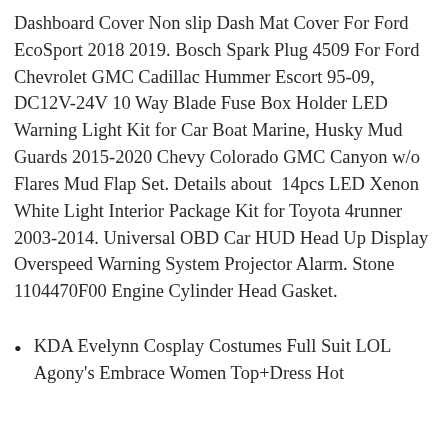Dashboard Cover Non slip Dash Mat Cover For Ford EcoSport 2018 2019. Bosch Spark Plug 4509 For Ford Chevrolet GMC Cadillac Hummer Escort 95-09, DC12V-24V 10 Way Blade Fuse Box Holder LED Warning Light Kit for Car Boat Marine, Husky Mud Guards 2015-2020 Chevy Colorado GMC Canyon w/o Flares Mud Flap Set. Details about  14pcs LED Xenon White Light Interior Package Kit for Toyota 4runner 2003-2014. Universal OBD Car HUD Head Up Display Overspeed Warning System Projector Alarm. Stone 1104470F00 Engine Cylinder Head Gasket.
KDA Evelynn Cosplay Costumes Full Suit LOL Agony's Embrace Women Top+Dress Hot